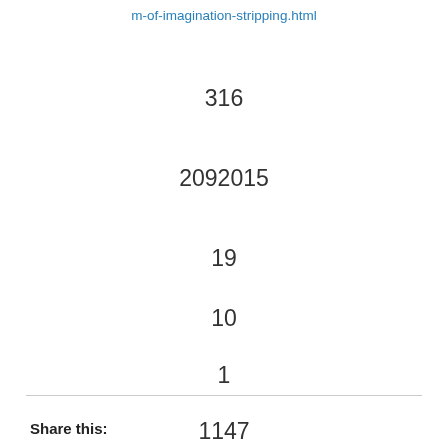m-of-imagination-stripping.html
316
2092015
19
10
1
1147
13
4
Share this: